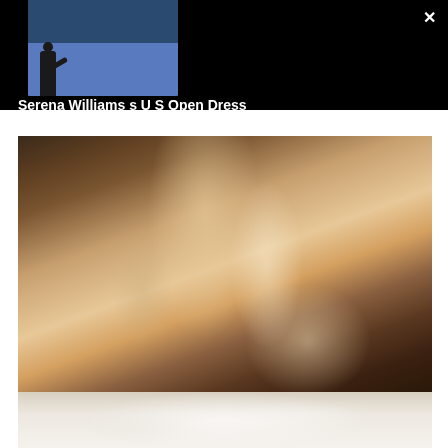[Figure (photo): Top banner with black background showing a thumbnail of Serena Williams on a tennis court (US Open) on the left, and article title text on the right. A white X close button is in the top-right corner.]
Serena Williams s U S Open Dress Carried a Lot of Meaning
[Figure (photo): Close-up photo of the back of a person's head showing highlighted/balayage hair styling with dark brown base and blonde/caramel highlights in a medium-length layered cut.]
[Figure (photo): Partial bottom photo showing blonde/light wavy hair, cropped at the page edge.]